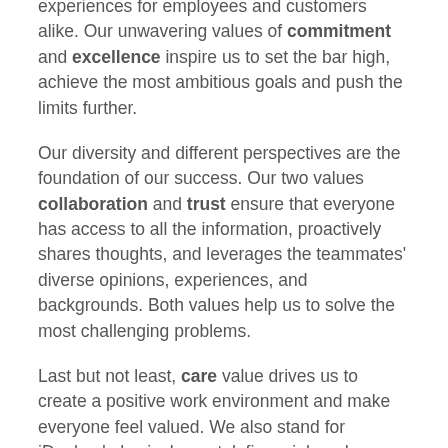experiences for employees and customers alike. Our unwavering values of commitment and excellence inspire us to set the bar high, achieve the most ambitious goals and push the limits further.
Our diversity and different perspectives are the foundation of our success. Our two values collaboration and trust ensure that everyone has access to all the information, proactively shares thoughts, and leverages the teammates' diverse opinions, experiences, and backgrounds. Both values help us to solve the most challenging problems.
Last but not least, care value drives us to create a positive work environment and make everyone feel valued. We also stand for iDealers' physical, mental, financial, and personal well-being and encourage a healthy lifestyle and active living.
iDealers work in a remote-first model, meaning we collaborate remotely from anywhere — either home, cafe, co-working space, or one of our offices. And although we are located across the globe, we stay connected with the help of technology and